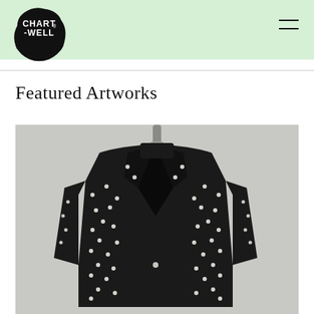[Figure (logo): Chartwell logo — black ink-blob shape with white text reading CHART-WELL with registered trademark symbol]
Featured Artworks
[Figure (photo): A black blazer/jacket covered in small silver/white studs or pearls, hanging on a black clothes hanger mounted on a metal hook against a light grey wall]